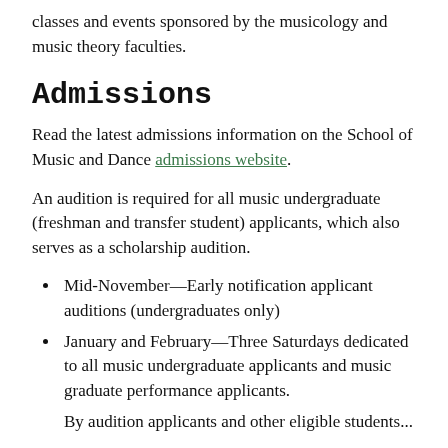classes and events sponsored by the musicology and music theory faculties.
Admissions
Read the latest admissions information on the School of Music and Dance admissions website.
An audition is required for all music undergraduate (freshman and transfer student) applicants, which also serves as a scholarship audition.
Mid-November—Early notification applicant auditions (undergraduates only)
January and February—Three Saturdays dedicated to all music undergraduate applicants and music graduate performance applicants.
By audition... (truncated)